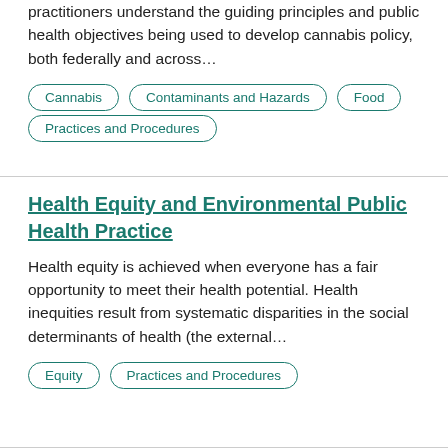practitioners understand the guiding principles and public health objectives being used to develop cannabis policy, both federally and across…
Cannabis
Contaminants and Hazards
Food
Practices and Procedures
Health Equity and Environmental Public Health Practice
Health equity is achieved when everyone has a fair opportunity to meet their health potential. Health inequities result from systematic disparities in the social determinants of health (the external…
Equity
Practices and Procedures